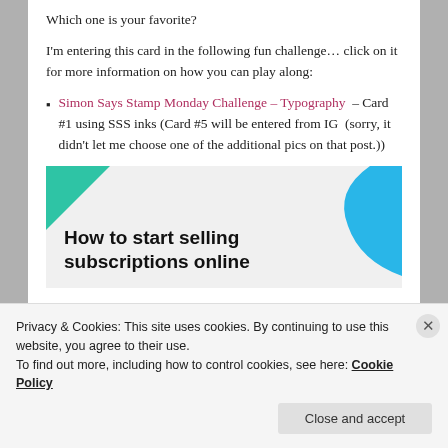Which one is your favorite?
I'm entering this card in the following fun challenge… click on it for more information on how you can play along:
Simon Says Stamp Monday Challenge – Typography – Card #1 using SSS inks (Card #5 will be entered from IG  (sorry, it didn't let me choose one of the additional pics on that post.))
[Figure (infographic): Advertisement banner: teal triangle top-left, blue leaf shape top-right, bold text 'How to start selling subscriptions online' on light grey background.]
Privacy & Cookies: This site uses cookies. By continuing to use this website, you agree to their use.
To find out more, including how to control cookies, see here: Cookie Policy
Close and accept